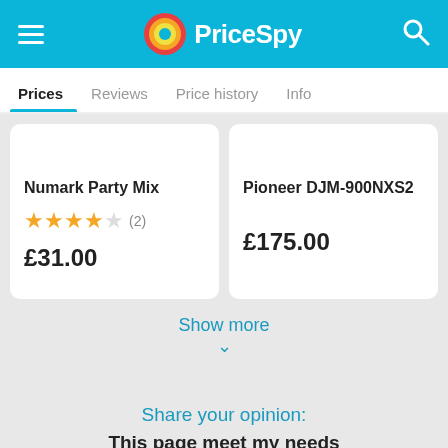PriceSpy
Prices | Reviews | Price history | Info
Numark Party Mix
★★★★☆ (2)
£31.00
Pioneer DJM-900NXS2
£175.00
Show more
Share your opinion:
This page meet my needs